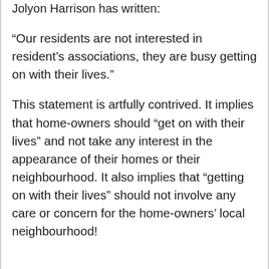Jolyon Harrison has written:
“Our residents are not interested in resident’s associations, they are busy getting on with their lives.”
This statement is artfully contrived. It implies that home-owners should “get on with their lives” and not take any interest in the appearance of their homes or their neighbourhood. It also implies that “getting on with their lives” should not involve any care or concern for the home-owners’ local neighbourhood!